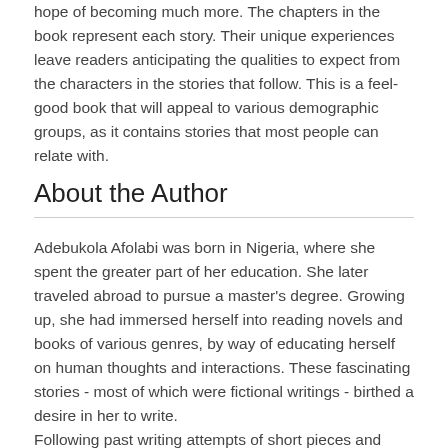hope of becoming much more. The chapters in the book represent each story. Their unique experiences leave readers anticipating the qualities to expect from the characters in the stories that follow. This is a feel-good book that will appeal to various demographic groups, as it contains stories that most people can relate with.
About the Author
Adebukola Afolabi was born in Nigeria, where she spent the greater part of her education. She later traveled abroad to pursue a master's degree. Growing up, she had immersed herself into reading novels and books of various genres, by way of educating herself on human thoughts and interactions. These fascinating stories - most of which were fictional writings - birthed a desire in her to write.
Following past writing attempts of short pieces and blog posts, the dream of writing a complete book became a reality in 2020. As the world was, and is still plagued by uncertainties, she was able to draw strength from the pleasant experiences of the